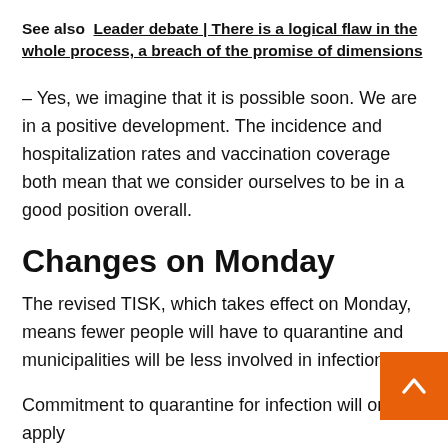See also  Leader debate | There is a logical flaw in the whole process, a breach of the promise of dimensions
– Yes, we imagine that it is possible soon. We are in a positive development. The incidence and hospitalization rates and vaccination coverage both mean that we consider ourselves to be in a good position overall.
Changes on Monday
The revised TISK, which takes effect on Monday, means fewer people will have to quarantine and municipalities will be less involved in infection tra
Commitment to quarantine for infection will only apply